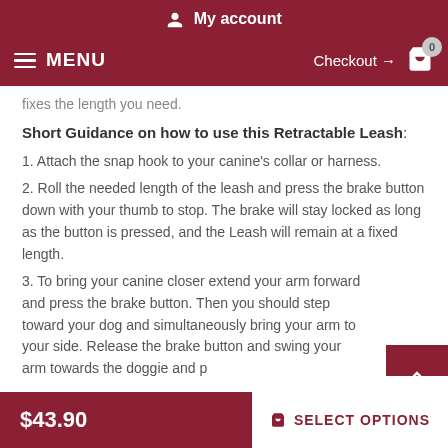My account
MENU   Checkout → 0
fixes the length you need.
Short Guidance on how to use this Retractable Leash:
1. Attach the snap hook to your canine's collar or harness.
2. Roll the needed length of the leash and press the brake button down with your thumb to stop. The brake will stay locked as long as the button is pressed, and the Leash will remain at a fixed length.
3. To bring your canine closer extend your arm forward and press the brake button. Then you should step toward your dog and simultaneously bring your arm to your side. Release the brake button and swing your arm towards the doggie and press the brake button again.
$43.90   SELECT OPTIONS